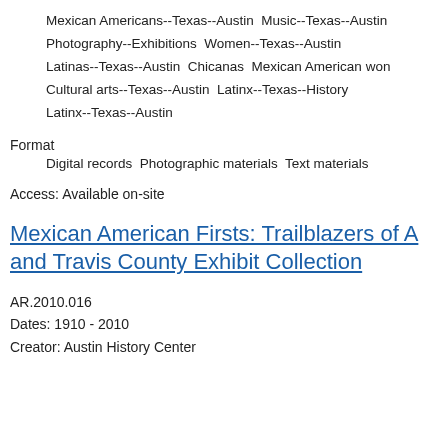Mexican Americans--Texas--Austin  Music--Texas--Austin
Photography--Exhibitions  Women--Texas--Austin
Latinas--Texas--Austin  Chicanas  Mexican American won
Cultural arts--Texas--Austin  Latinx--Texas--History
Latinx--Texas--Austin
Format
Digital records  Photographic materials  Text materials
Access: Available on-site
Mexican American Firsts: Trailblazers of A and Travis County Exhibit Collection
AR.2010.016
Dates: 1910 - 2010
Creator: Austin History Center